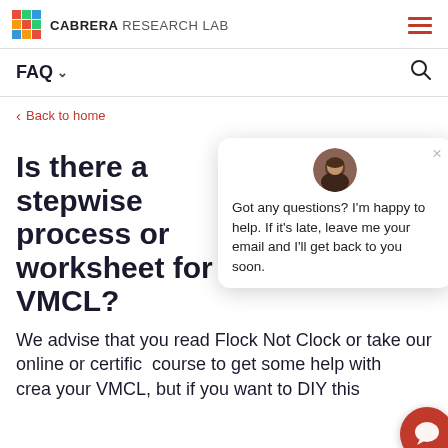CABRERA RESEARCH LAB
FAQ
< Back to home
Is there a stepwise process or worksheet for VMCL?
We advise that you read Flock Not Clock or take our online or certified course to get some help with creating your VMCL, but if you want to DIY this
Got any questions? I'm happy to help. If it's late, leave me your email and I'll get back to you soon.